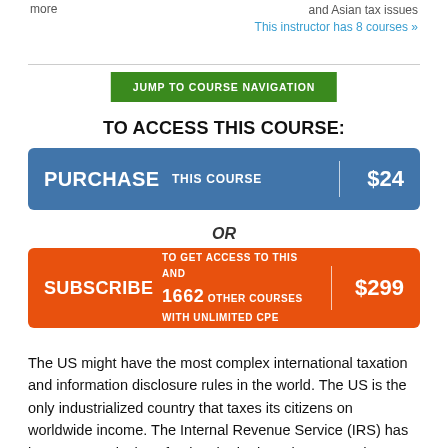more
and Asian tax issues
This instructor has 8 courses »
JUMP TO COURSE NAVIGATION
TO ACCESS THIS COURSE:
PURCHASE  THIS COURSE  $24
OR
SUBSCRIBE  TO GET ACCESS TO THIS AND 1662 OTHER COURSES WITH UNLIMITED CPE  $299
The US might have the most complex international taxation and information disclosure rules in the world. The US is the only industrialized country that taxes its citizens on worldwide income. The Internal Revenue Service (IRS) has been aggressively enforcing the intricate income and information reporting / financial